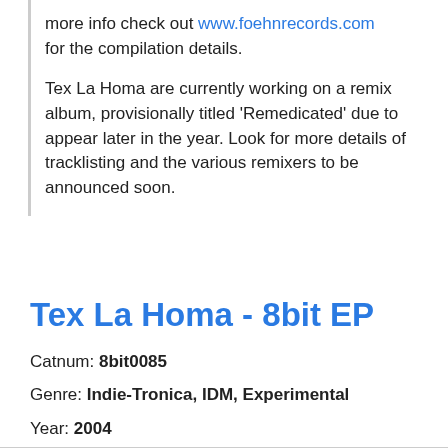more info check out www.foehnrecords.com for the compilation details.
Tex La Homa are currently working on a remix album, provisionally titled 'Remedicated' due to appear later in the year. Look for more details of tracklisting and the various remixers to be announced soon.
Tex La Homa - 8bit EP
Catnum: 8bit0085
Genre: Indie-Tronica, IDM, Experimental
Year: 2004
Download: https://archive.org/download/8bit0085